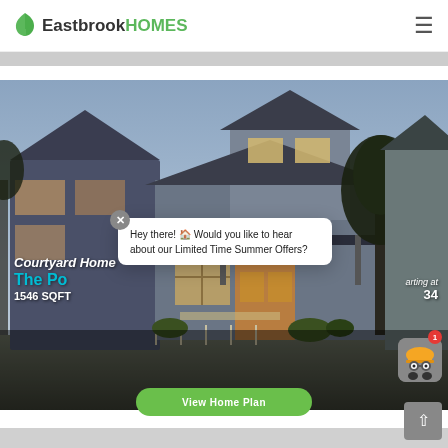Eastbrook HOMES
[Figure (photo): Exterior rendering of a modern courtyard home with blue-gray siding, lit interior, and trees in the background at dusk.]
Courtyard Home
The Po...
1546 SQFT
...arting at $34...
Hey there! 🏠 Would you like to hear about our Limited Time Summer Offers?
View Home Plan